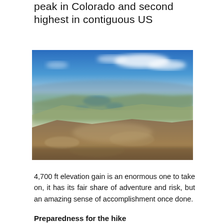peak in Colorado and second highest in contiguous US
[Figure (photo): Aerial mountain landscape view showing rocky terrain in foreground, alpine lakes and valleys in the middle distance, and blue sky with clouds above. Taken from a high Colorado mountain summit looking down across the landscape.]
4,700 ft elevation gain is an enormous one to take on, it has its fair share of adventure and risk, but an amazing sense of accomplishment once done.
Preparedness for the hike